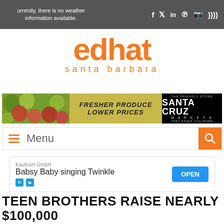Currently, there is no weather information available.
[Figure (logo): edhat santa barbara orange logo]
[Figure (infographic): Santa Cruz Markets ad banner: Fresher Produce Lower Prices with fruit imagery]
[Figure (infographic): Menu navigation bar with hamburger icon and search button]
[Figure (infographic): Kaufcom GmbH ad: Babsy Baby singing Twinkle with OPEN button]
TEEN BROTHERS RAISE NEARLY $100,000